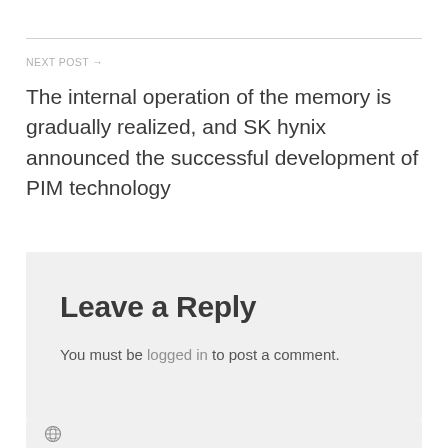NEXT POST →
The internal operation of the memory is gradually realized, and SK hynix announced the successful development of PIM technology
Leave a Reply
You must be logged in to post a comment.
WordPress logo